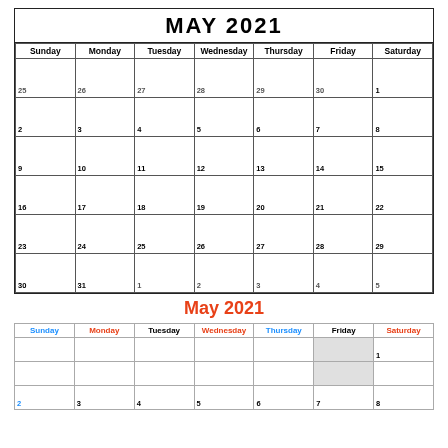| Sunday | Monday | Tuesday | Wednesday | Thursday | Friday | Saturday |
| --- | --- | --- | --- | --- | --- | --- |
| 25 | 26 | 27 | 28 | 29 | 30 | 1 |
| 2 | 3 | 4 | 5 | 6 | 7 | 8 |
| 9 | 10 | 11 | 12 | 13 | 14 | 15 |
| 16 | 17 | 18 | 19 | 20 | 21 | 22 |
| 23 | 24 | 25 | 26 | 27 | 28 | 29 |
| 30 | 31 | 1 | 2 | 3 | 4 | 5 |
| Sunday | Monday | Tuesday | Wednesday | Thursday | Friday | Saturday |
| --- | --- | --- | --- | --- | --- | --- |
|  |  |  |  |  |  | 1 |
|  |  |  |  |  |  |  |
| 2 | 3 | 4 | 5 | 6 | 7 | 8 |